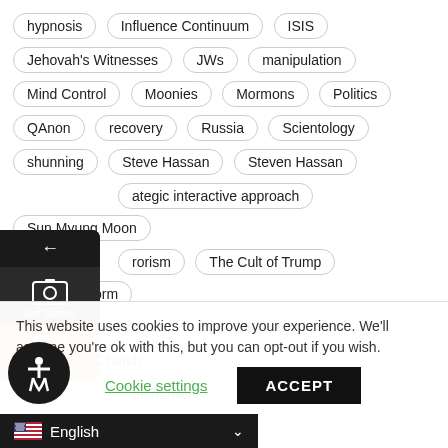hypnosis
Influence Continuum
ISIS
Jehovah's Witnesses
JWs
manipulation
Mind Control
Moonies
Mormons
Politics
QAnon
recovery
Russia
Scientology
shunning
Steve Hassan
Steven Hassan
strategic interactive approach
Sun Myung Moon
terrorism
The Cult of Trump
thought reform
trump
Undue Influence
Unification Church
Watchtower
Recent Posts
This website uses cookies to improve your experience. We'll assume you're ok with this, but you can opt-out if you wish.